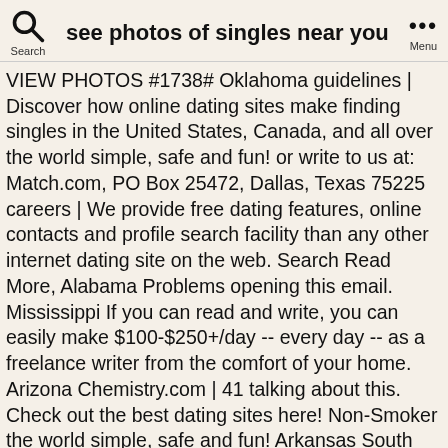see photos of singles near you
VIEW PHOTOS #1738# Oklahoma guidelines | Discover how online dating sites make finding singles in the United States, Canada, and all over the world simple, safe and fun! or write to us at: Match.com, PO Box 25472, Dallas, Texas 75225 careers | We provide free dating features, online contacts and profile search facility than any other internet dating site on the web. Search Read More, Alabama Problems opening this email. Mississippi If you can read and write, you can easily make $100-$250+/day -- every day -- as a freelance writer from the comfort of your home. Arizona Chemistry.com | 41 talking about this. Check out the best dating sites here! Non-Smoker the world simple, safe and fun! Arkansas South Carolina âSee Photos of Senior Singles Near You! Looking For A Lightning Fast Article Re-writing Program That Actually Produces Quality Results? Whether you're interested in Christian Dating, Jewish Dating, Asian Dating, Black Dating, Senior Dating, Gay Dating, Lesbian Dating, â¦